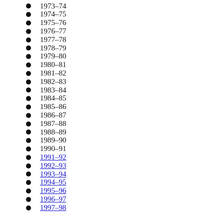1973–74
1974–75
1975–76
1976–77
1977–78
1978–79
1979–80
1980–81
1981–82
1982–83
1983–84
1984–85
1985–86
1986–87
1987–88
1988–89
1989–90
1990–91
1991–92
1992–93
1993–94
1994–95
1995–96
1996–97
1997–98